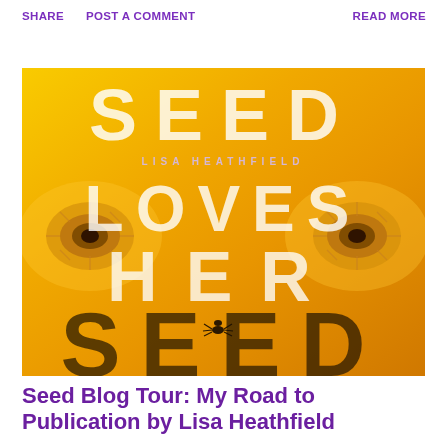SHARE   POST A COMMENT   READ MORE
[Figure (illustration): Book cover for 'Seed Loves Her Seed' by Lisa Heathfield. Bright yellow/orange gradient background with large white letters spelling SEED across the top, LOVES in the middle, HER below, and SEED again at the bottom in dark letters. The author name LISA HEATHFIELD appears in spaced letters. Stylized golden eyes are visible in the background. A small spider icon appears near the bottom center.]
Seed Blog Tour: My Road to Publication by Lisa Heathfield